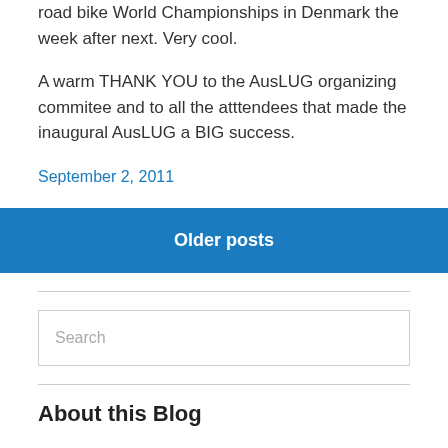road bike World Championships in Denmark the week after next. Very cool.
A warm THANK YOU to the AusLUG organizing commitee and to all the atttendees that made the inaugural AusLUG a BIG success.
September 2, 2011
Older posts
Search
About this Blog